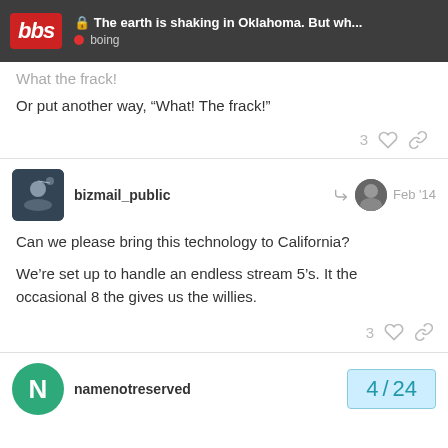The earth is shaking in Oklahoma. But wh... | boing
What the frack!
Or put another way, “What! The frack!”
bizmail_public — Feb '14
Can we please bring this technology to California?
We’re set up to handle an endless stream 5’s. It the occasional 8 the gives us the willies.
namenotreserved — 4 / 24